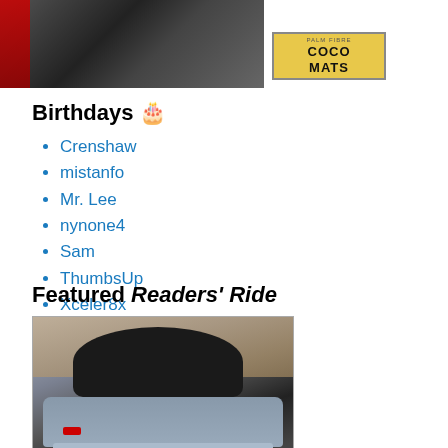[Figure (photo): Top portion of page showing a car mat photo on the left and a Coco Mats logo/badge on the right]
Birthdays 🎂
Crenshaw
mistanfo
Mr. Lee
nynone4
Sam
ThumbsUp
Xceler8x
Featured Readers' Ride
[Figure (photo): Photo of a silver/grey sports car (rear view) parked in a garage with a black convertible top]